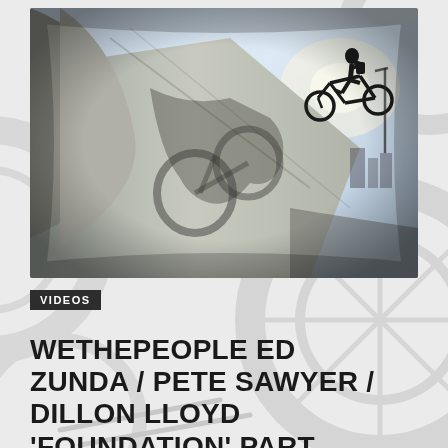[Figure (photo): BMX rider performing a trick on a wall/ledge with a dramatic shadow cast on the concrete surface. Fisheye lens perspective, urban environment, bright sky, buildings visible in background.]
VIDEOS
WETHEPEOPLE ED ZUNDA / PETE SAWYER / DILLON LLOYD 'FOUNDATION' PART
Jan 11, 2018